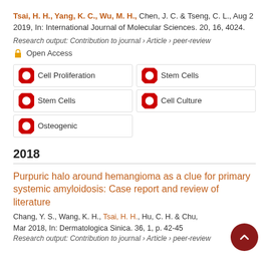Tsai, H. H., Yang, K. C., Wu, M. H., Chen, J. C. & Tseng, C. L., Aug 2 2019, In: International Journal of Molecular Sciences. 20, 16, 4024.
Research output: Contribution to journal › Article › peer-review
Open Access
Cell Proliferation
Stem Cells
Stem Cells
Cell Culture
Osteogenic
2018
Purpuric halo around hemangioma as a clue for primary systemic amyloidosis: Case report and review of literature
Chang, Y. S., Wang, K. H., Tsai, H. H., Hu, C. H. & Chu,
Mar 2018, In: Dermatologica Sinica. 36, 1, p. 42-45
Research output: Contribution to journal › Article › peer-review